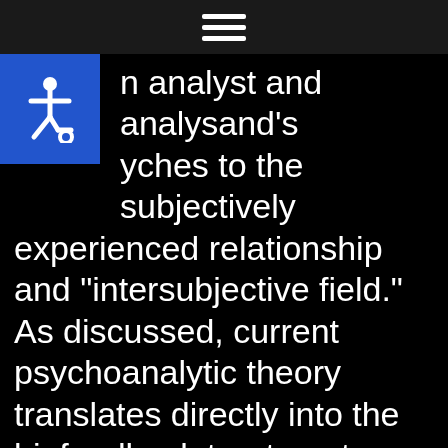[hamburger menu icon]
[Figure (logo): Blue accessibility/wheelchair icon in top-left corner]
n analyst and analysand's yches to the subjectively experienced relationship and “intersubjective field.”  As discussed, current psychoanalytic theory translates directly into the biofeedback treatment situation via the exploration of interpersonal relationship dynamics between patient, therapist and biofeedback instrumentation.  It appears that the wheel of fate has completed a cycle begun by Neal Miller!!